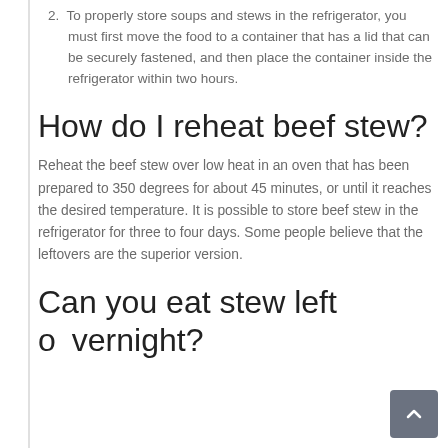2. To properly store soups and stews in the refrigerator, you must first move the food to a container that has a lid that can be securely fastened, and then place the container inside the refrigerator within two hours.
How do I reheat beef stew?
Reheat the beef stew over low heat in an oven that has been prepared to 350 degrees for about 45 minutes, or until it reaches the desired temperature. It is possible to store beef stew in the refrigerator for three to four days. Some people believe that the leftovers are the superior version.
Can you eat stew left overnight?